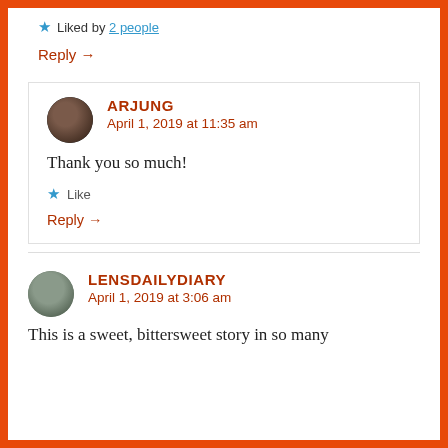★ Liked by 2 people
Reply →
ARJUNG
April 1, 2019 at 11:35 am
Thank you so much!
★ Like
Reply →
LENSDAILYDIARY
April 1, 2019 at 3:06 am
This is a sweet, bittersweet story in so many